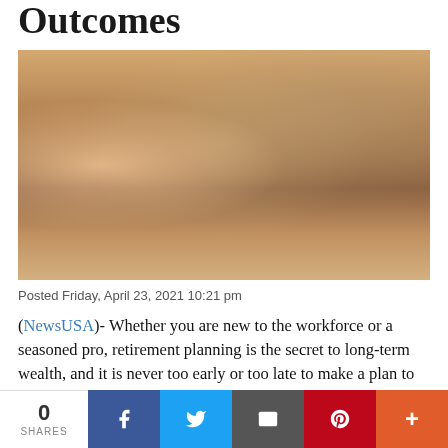Outcomes
[Figure (photo): Group of diverse young people sitting around a table in a modern workspace, smiling and looking at a laptop. Notebooks, drinks, and office supplies are on the table. A bookshelf is visible in the background.]
Posted Friday, April 23, 2021 10:21 pm
(NewsUSA)- Whether you are new to the workforce or a seasoned pro, retirement planning is the secret to long-term wealth, and it is never too early or too late to make a plan to
0 SHARES | Facebook | Twitter | Email | Pinterest | More